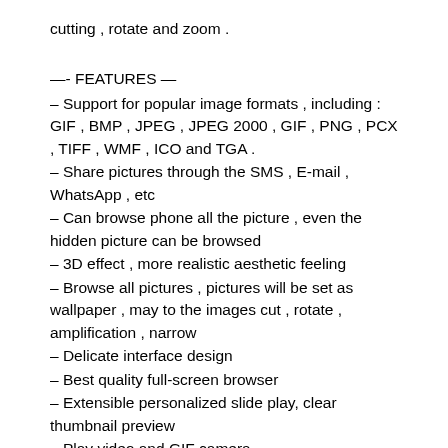cutting , rotate and zoom .
—- FEATURES —
– Support for popular image formats , including : GIF , BMP , JPEG , JPEG 2000 , GIF , PNG , PCX , TIFF , WMF , ICO and TGA .
– Share pictures through the SMS , E-mail , WhatsApp , etc
– Can browse phone all the picture , even the hidden picture can be browsed
– 3D effect , more realistic aesthetic feeling
– Browse all pictures , pictures will be set as wallpaper , may to the images cut , rotate , amplification , narrow
– Delicate interface design
– Best quality full-screen browser
– Extensible personalized slide play, clear thumbnail preview
– Play video and GIF camera
– Fluent experience: sliding translation or switching, click or